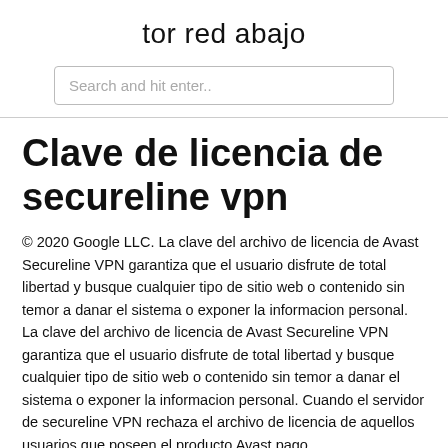tor red abajo
Clave de licencia de secureline vpn
© 2020 Google LLC. La clave del archivo de licencia de Avast Secureline VPN garantiza que el usuario disfrute de total libertad y busque cualquier tipo de sitio web o contenido sin temor a danar el sistema o exponer la informacion personal. La clave del archivo de licencia de Avast Secureline VPN garantiza que el usuario disfrute de total libertad y busque cualquier tipo de sitio web o contenido sin temor a danar el sistema o exponer la informacion personal. Cuando el servidor de secureline VPN rechaza el archivo de licencia de aquellos usuarios que poseen el producto Avast pago.